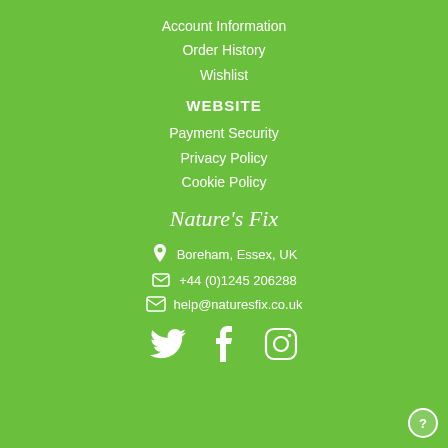Account Information
Order History
Wishlist
WEBSITE
Payment Security
Privacy Policy
Cookie Policy
Nature's Fix
Boreham, Essex, UK
+44 (0)1245 206288
help@naturesfix.co.uk
[Figure (illustration): Social media icons: Twitter, Facebook, Instagram]